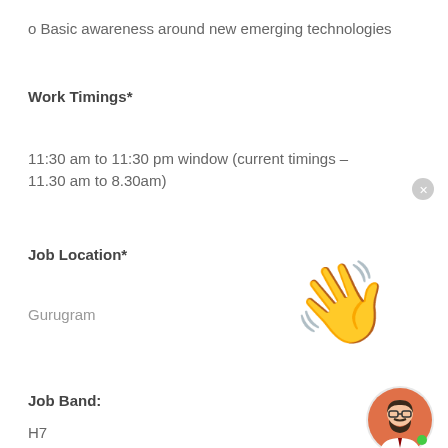o Basic awareness around new emerging technologies
Work Timings*
11:30 am to 11:30 pm window (current timings – 11.30 am to 8.30am)
Job Location*
Gurugram
[Figure (illustration): Waving hand emoji in yellow]
Job Band:
H7
[Figure (illustration): Avatar of a bearded man with glasses, orange background, green online indicator dot]